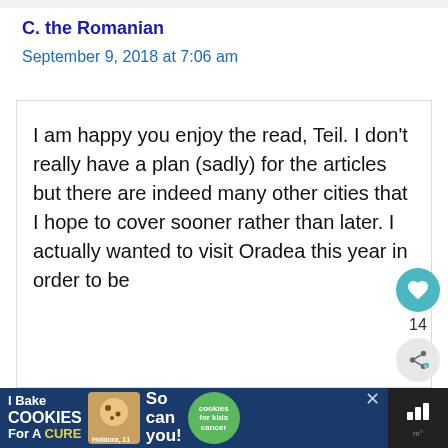C. the Romanian
September 9, 2018 at 7:06 am
I am happy you enjoy the read, Teil. I don't really have a plan (sadly) for the articles but there are indeed many other cities that I hope to cover sooner rather than later. I actually wanted to visit Oradea this year in order to be
[Figure (infographic): Advertisement banner: I Bake COOKIES For A CURE with Holdora, 11 Cancer Survivor and cookies for kids cancer badge]
[Figure (infographic): Like/heart widget showing 14 likes and a share button]